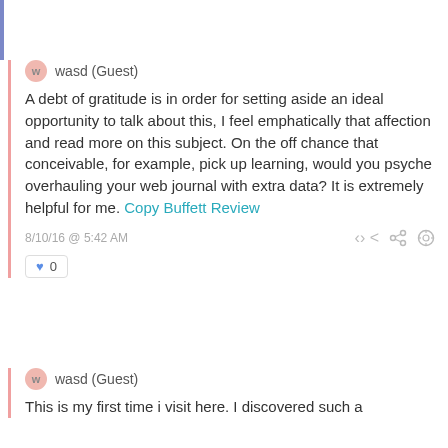wasd (Guest)
A debt of gratitude is in order for setting aside an ideal opportunity to talk about this, I feel emphatically that affection and read more on this subject. On the off chance that conceivable, for example, pick up learning, would you psyche overhauling your web journal with extra data? It is extremely helpful for me. Copy Buffett Review
8/10/16 @ 5:42 AM
♥ 0
wasd (Guest)
This is my first time i visit here. I discovered such a